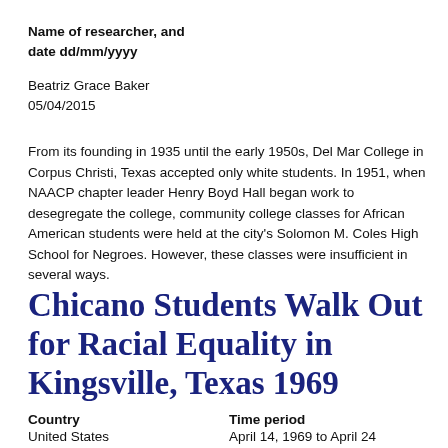Name of researcher, and date dd/mm/yyyy
Beatriz Grace Baker
05/04/2015
From its founding in 1935 until the early 1950s, Del Mar College in Corpus Christi, Texas accepted only white students. In 1951, when NAACP chapter leader Henry Boyd Hall began work to desegregate the college, community college classes for African American students were held at the city's Solomon M. Coles High School for Negroes. However, these classes were insufficient in several ways.
Chicano Students Walk Out for Racial Equality in Kingsville, Texas 1969
| Country | Time period |
| --- | --- |
| United States | April 14, 1969 to April 24 |